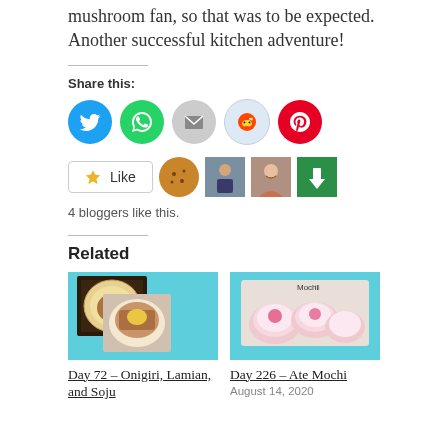mushroom fan, so that was to be expected. Another successful kitchen adventure!
Share this:
[Figure (infographic): Social share icons: Twitter (blue circle), WhatsApp (green circle), Email (gray circle), Reddit (light blue circle), Pinterest (red circle)]
[Figure (infographic): Like button and 4 blogger avatars: a cookie avatar, a person in a coat, a woman smiling, a green square with down arrow]
4 bloggers like this.
Related
[Figure (photo): Food images: onigiri, lamian noodle soup, and soju]
Day 72 – Onigiri, Lamian, and Soju
[Figure (photo): Pink mochi pieces on a tray with packaging label reading Mochi]
Day 226 – Ate Mochi
August 14, 2020